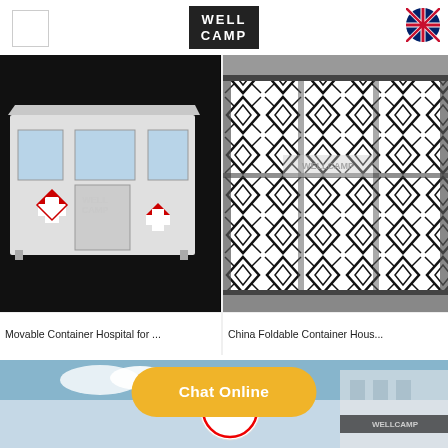WELLCAMP
[Figure (photo): Movable container hospital unit, white exterior with red cross symbols and windows, WELLCAMP branding]
Movable Container Hospital for ...
[Figure (photo): China foldable container house with black and white geometric pattern exterior, industrial setting]
China Foldable Container Hous...
[Figure (photo): Bottom banner showing UL certification logo and WELLCAMP building image]
Chat Online